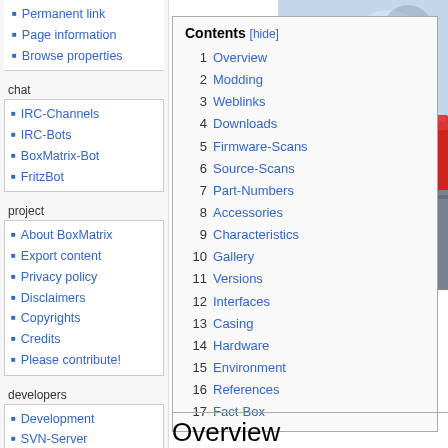Permanent link
Page information
Browse properties
chat
IRC-Channels
IRC-Bots
BoxMatrix-Bot
FritzBot
project
About BoxMatrix
Export content
Privacy policy
Disclaimers
Copyrights
Credits
Please contribute!
developers
Development
SVN-Server
Trac-Server
admin
Contact admin
Admin log in
| # | Title |
| --- | --- |
| 1 | Overview |
| 2 | Modding |
| 3 | Weblinks |
| 4 | Downloads |
| 5 | Firmware-Scans |
| 6 | Source-Scans |
| 7 | Part-Numbers |
| 8 | Accessories |
| 9 | Characteristics |
| 10 | Gallery |
| 11 | Versions |
| 12 | Interfaces |
| 13 | Casing |
| 14 | Hardware |
| 15 | Environment |
| 16 | References |
| 17 | Fact-Box |
[Figure (photo): 7170 V1 press photo showing a red and grey router/modem device with ethernet ports, blurred background]
7170 V1 press photo (C) AVM Gmb
Overview